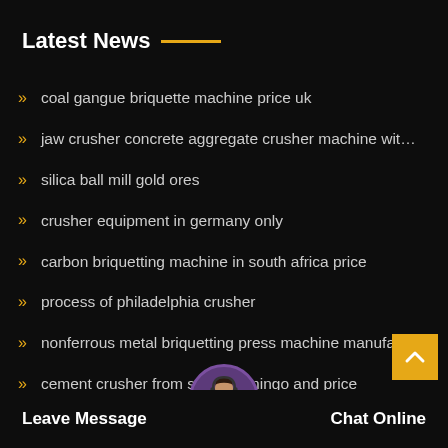Latest News
coal gangue briquette machine price uk
jaw crusher concrete aggregate crusher machine wit…
silica ball mill gold ores
crusher equipment in germany only
carbon briquetting machine in south africa price
process of philadelphia crusher
nonferrous metal briquetting press machine manufa…
cement crusher from santo domingo and price
iron ore crusher supplier in hyderabad
crushed stone price lis…
grinding machine ball m… south africa mandela
Leave Message
Chat Online